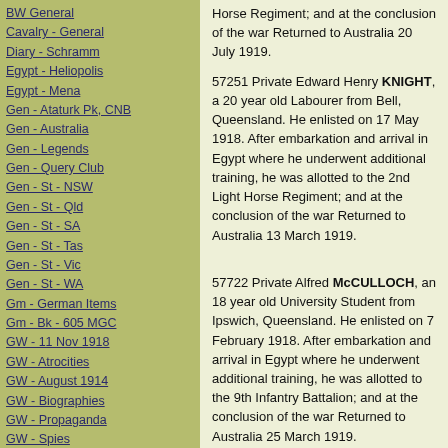BW General
Cavalry - General
Diary - Schramm
Egypt - Heliopolis
Egypt - Mena
Gen - Ataturk Pk, CNB
Gen - Australia
Gen - Legends
Gen - Query Club
Gen - St - NSW
Gen - St - Qld
Gen - St - SA
Gen - St - Tas
Gen - St - Vic
Gen - St - WA
Gm - German Items
Gm - Bk - 605 MGC
GW - 11 Nov 1918
GW - Atrocities
GW - August 1914
GW - Biographies
GW - Propaganda
GW - Spies
GW - We forgot
Militia 1899-1920
Militia - Area Officers
Militia - Inf - Infantry
Militia - Inf - 1IB
Horse Regiment; and at the conclusion of the war Returned to Australia 20 July 1919.
57251 Private Edward Henry KNIGHT, a 20 year old Labourer from Bell, Queensland. He enlisted on 17 May 1918. After embarkation and arrival in Egypt where he underwent additional training, he was allotted to the 2nd Light Horse Regiment; and at the conclusion of the war Returned to Australia 13 March 1919.
57722 Private Alfred McCULLOCH, an 18 year old University Student from Ipswich, Queensland. He enlisted on 7 February 1918. After embarkation and arrival in Egypt where he underwent additional training, he was allotted to the 9th Infantry Battalion; and at the conclusion of the war Returned to Australia 25 March 1919.